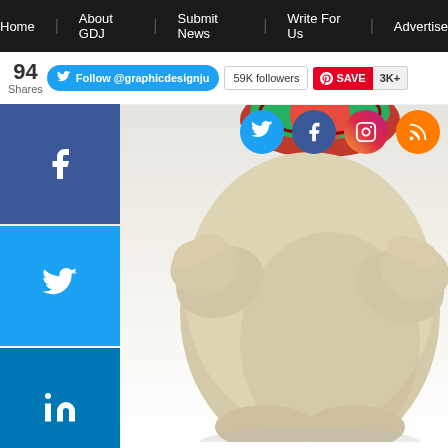Home | About GDJ | Submit News | Write For Us | Advertise
[Figure (screenshot): Website screenshot showing a graphic design blog page with navigation bar, social share buttons (Facebook, Twitter, LinkedIn, Pinterest), a Twitter follow button, Pinterest save button, and a 3D rendered cartoon character (rotund creature with hat) as the main content image, with social media icons overlay (Twitter, Facebook, Instagram, RSS).]